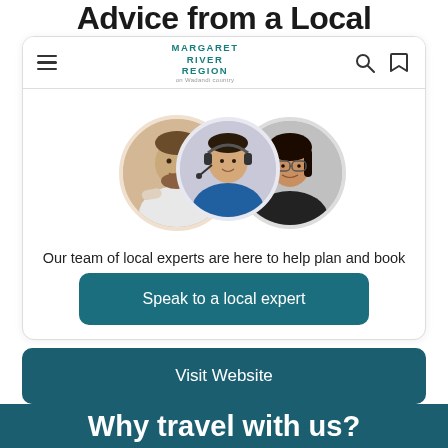Advice from a Local
[Figure (screenshot): Margaret River Region logo with teal text and tagline on Wadandi country]
[Figure (photo): Three circular portrait photos of local experts: a man in white shirt with arms crossed, a woman with headset in blue jacket, and a woman in black top]
Our team of local experts are here to help plan and book your stay in the Margaret River Region.
Speak to a local expert
Visit Website
Why travel with us?